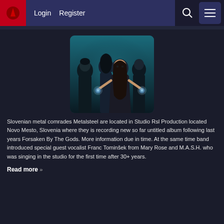Login   Register
[Figure (photo): A metal band of four members posed against a dark teal background. A woman in a leather jacket stands in the center front holding glowing orbs in each hand, flanked by three male band members.]
Slovenian metal comrades Metalsteel are located in Studio Rsl Production located Novo Mesto, Slovenia where they is recording new so far untitled album following last years Forsaken By The Gods. More information due in time. At the same time band introduced special guest vocalist Franc Tominšek from Mary Rose and M.A.S.H. who was singing in the studio for the first time after 30+ years.
Read more »